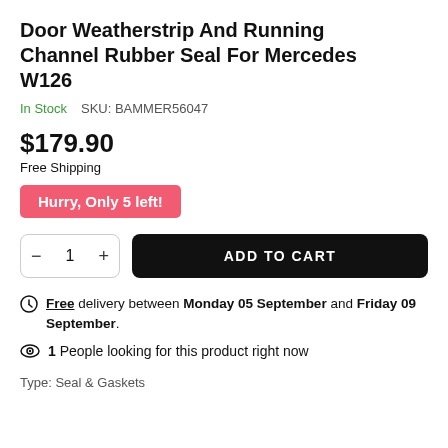Door Weatherstrip And Running Channel Rubber Seal For Mercedes W126
In Stock   SKU: BAMMER56047
$179.90
Free Shipping
Hurry, Only 5 left!
ADD TO CART
Free delivery between Monday 05 September and Friday 09 September.
1 People looking for this product right now
Type: Seal & Gaskets